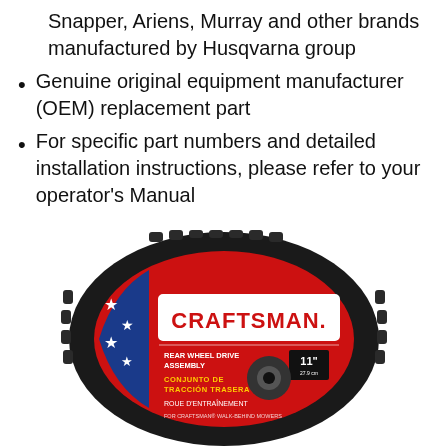Snapper, Ariens, Murray and other brands manufactured by Husqvarna group
Genuine original equipment manufacturer (OEM) replacement part
For specific part numbers and detailed installation instructions, please refer to your operator's Manual
[Figure (photo): Craftsman Rear Wheel Drive Assembly product photo showing a black rubber wheel with red hub labeled CRAFTSMAN, 11 inch, Walk Behind Mower Rear Wheel Drive Assembly]